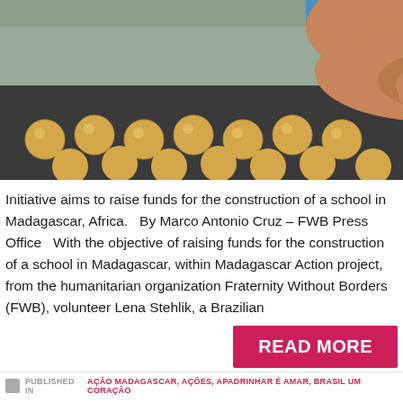[Figure (photo): A hand reaching over a dark tray containing multiple small round dough balls or food items, photographed outdoors with blue elements visible in the background.]
Initiative aims to raise funds for the construction of a school in Madagascar, Africa.   By Marco Antonio Cruz – FWB Press Office   With the objective of raising funds for the construction of a school in Madagascar, within Madagascar Action project, from the humanitarian organization Fraternity Without Borders (FWB), volunteer Lena Stehlik, a Brazilian
READ MORE
PUBLISHED IN AÇÃO MADAGASCAR, AÇÕES, APADRINHAR É AMAR, BRASIL UM CORAÇÃO